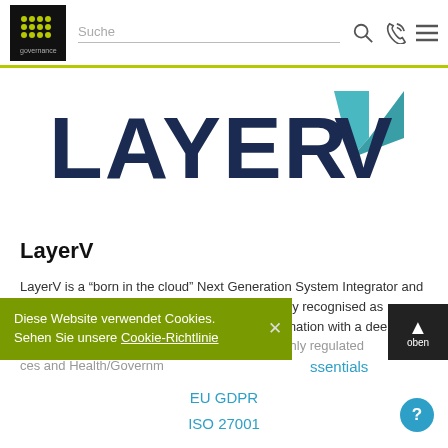IT Governance | Suche
[Figure (logo): LayerV logo — dark navy bold text 'LAYERV' with a teal/green angular V-shaped chevron mark]
LayerV
LayerV is a “born in the cloud” Next Generation System Integrator and Cloud Managed Service Provider. We are widely recognised as innovative leaders in Cloud Adoption and Automation with a deep specialism in Cloud Security & [experience in highly regulated] [ces and Health/Governm...]
ssentials
EU GDPR
ISO 27001